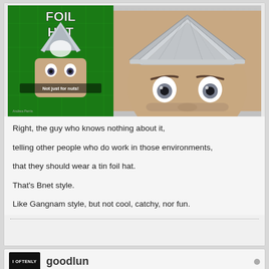[Figure (photo): Two images side by side: left is a book cover for a 'Tin Foil Hat for humans - Not just for nuts!' book with a man wearing a foil hat on green background; right is a photo of a man with wide eyes wearing a real tin foil hat.]
Right, the guy who knows nothing about it,
telling other people who do work in those environments,
that they should wear a tin foil hat.
That's Bnet style.
Like Gangnam style, but not cool, catchy, nor fun.
I OFTENLY   goodlun